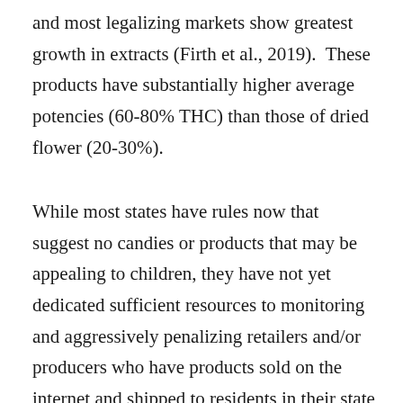and most legalizing markets show greatest growth in extracts (Firth et al., 2019).  These products have substantially higher average potencies (60-80% THC) than those of dried flower (20-30%).
While most states have rules now that suggest no candies or products that may be appealing to children, they have not yet dedicated sufficient resources to monitoring and aggressively penalizing retailers and/or producers who have products sold on the internet and shipped to residents in their state and/or sold in brick-and-mortar stores, but they could.  They have also paid little attention to the